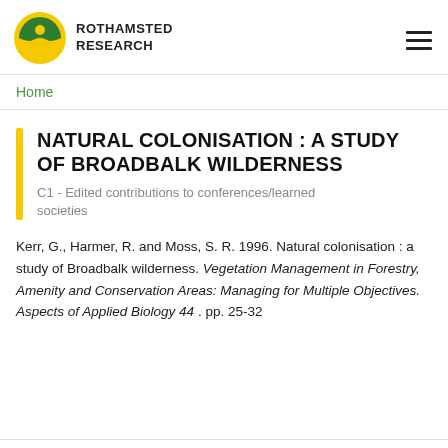ROTHAMSTED RESEARCH
Home
NATURAL COLONISATION : A STUDY OF BROADBALK WILDERNESS
C1 - Edited contributions to conferences/learned societies
Kerr, G., Harmer, R. and Moss, S. R. 1996. Natural colonisation : a study of Broadbalk wilderness. Vegetation Management in Forestry, Amenity and Conservation Areas: Managing for Multiple Objectives. Aspects of Applied Biology 44 . pp. 25-32